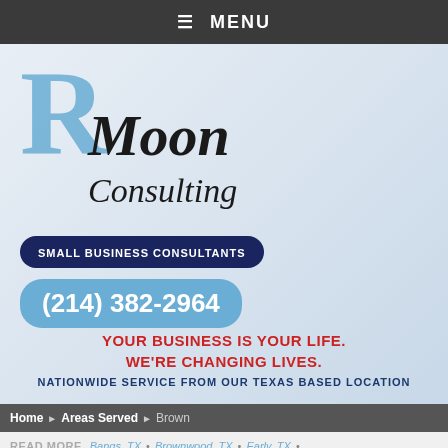≡ MENU
[Figure (logo): R Moon Consulting logo with large blue R letter and black italic text]
SMALL BUSINESS CONSULTANTS
(214) 382-2964
YOUR BUSINESS IS YOUR LIFE. WE'RE CHANGING LIVES.
NATIONWIDE SERVICE FROM OUR TEXAS BASED LOCATION
Home ▶ Areas Served ▶ Brown
READ MORE  Bangs, TX · Brownwood, TX · Early, TX ·